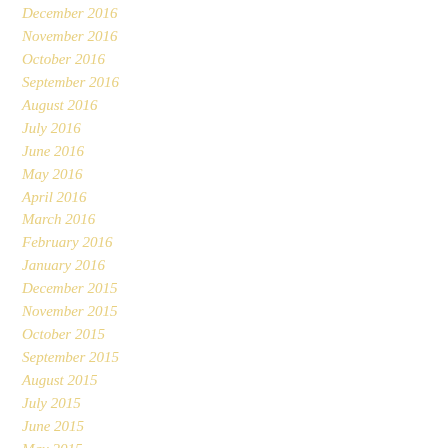December 2016
November 2016
October 2016
September 2016
August 2016
July 2016
June 2016
May 2016
April 2016
March 2016
February 2016
January 2016
December 2015
November 2015
October 2015
September 2015
August 2015
July 2015
June 2015
May 2015
April 2015
March 2015
February 2015